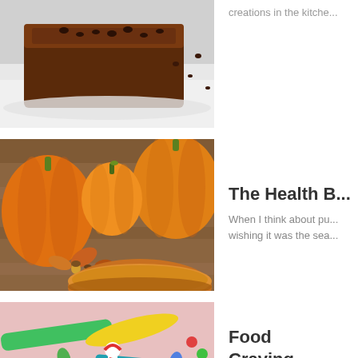[Figure (photo): Chocolate loaf bread with chocolate chips on a white plate, partially visible at top of page]
creations in the kitche...
[Figure (photo): Overhead view of small orange pumpkins, autumn leaves, acorns, and a pumpkin pie on a wooden surface]
The Health B...
When I think about pu... wishing it was the sea...
[Figure (photo): Colorful assorted candy including gummy bears, jelly beans, licorice, and hard candy]
Food Craving... Them
Our bodies can do stra... cravings.